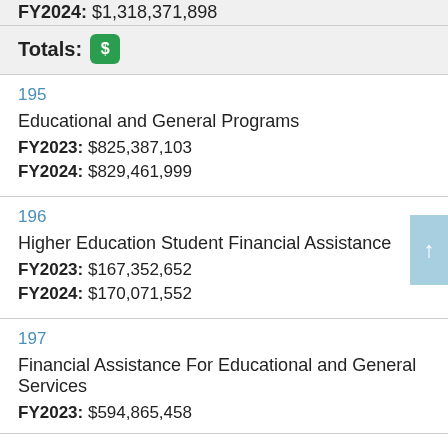FY2024: $1,318,371,898
Totals: $
195
Educational and General Programs
FY2023: $825,387,103
FY2024: $829,461,999
196
Higher Education Student Financial Assistance
FY2023: $167,352,652
FY2024: $170,071,552
197
Financial Assistance For Educational and General Services
FY2023: $594,865,458